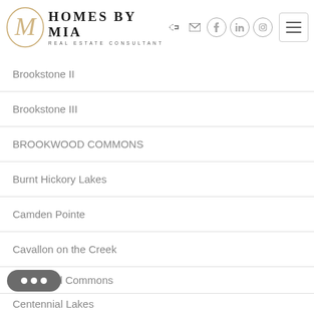[Figure (logo): Homes by Mia Real Estate Consultant logo with stylized M in circle and text]
Brookstone II
Brookstone III
BROOKWOOD COMMONS
Burnt Hickory Lakes
Camden Pointe
Cavallon on the Creek
ial Commons
Centennial Lakes